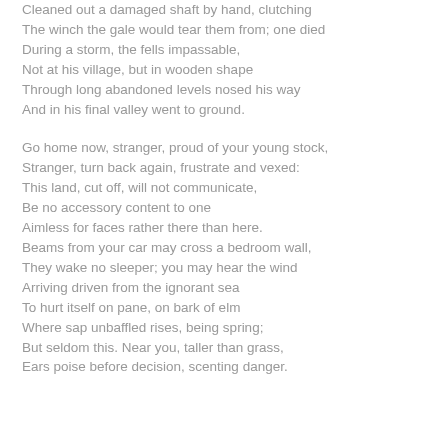Cleaned out a damaged shaft by hand, clutching
The winch the gale would tear them from; one died
During a storm, the fells impassable,
Not at his village, but in wooden shape
Through long abandoned levels nosed his way
And in his final valley went to ground.

Go home now, stranger, proud of your young stock,
Stranger, turn back again, frustrate and vexed:
This land, cut off, will not communicate,
Be no accessory content to one
Aimless for faces rather there than here.
Beams from your car may cross a bedroom wall,
They wake no sleeper; you may hear the wind
Arriving driven from the ignorant sea
To hurt itself on pane, on bark of elm
Where sap unbaffled rises, being spring;
But seldom this. Near you, taller than grass,
Ears poise before decision, scenting danger.